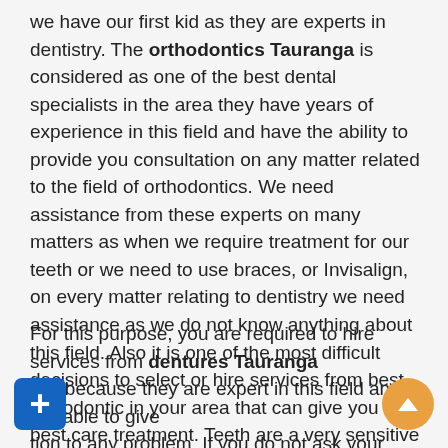we have our first kid as they are experts in dentistry. The orthodontics Tauranga is considered as one of the best dental specialists in the area they have years of experience in this field and have the ability to provide you consultation on any matter related to the field of orthodontics. We need assistance from these experts on many matters as when we require treatment for our teeth or we need to use braces, or Invisalign, on every matter relating to dentistry we need assistance as we do not know anything about this field. Also it is one of the most difficult decisions to select or hire services from best orthodontic in your area that can give you the best care treatment. Teeth are a very sensitive part of our body and they need proper care.
For this purpose, you are required to hire services from dentures Tauranga just because they are expert in this field and are able to give solution to any problem. If you do not ask your orthodontic